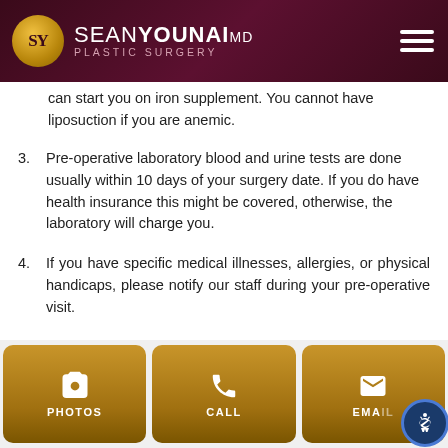SEAN YOUNAI MD PLASTIC SURGERY
can start you on iron supplement. You cannot have liposuction if you are anemic.
3. Pre-operative laboratory blood and urine tests are done usually within 10 days of your surgery date. If you do have health insurance this might be covered, otherwise, the laboratory will charge you.
4. If you have specific medical illnesses, allergies, or physical handicaps, please notify our staff during your pre-operative visit.
5. If you have had a history of forming blood clots in your legs, deep venous thrombosis (DVT), Pulmonary Embolism (PE), or are known to have hypercoagulability, you need to notify your surgeon prior to surgery, so that necessary precautions can be taken for your surgery.